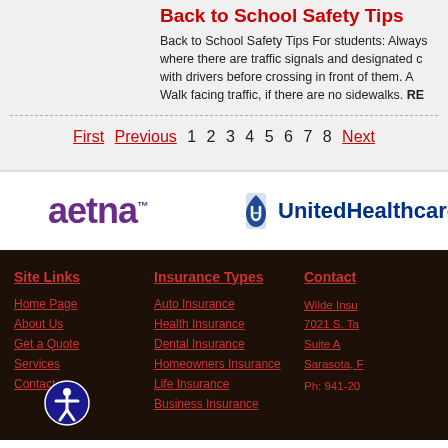Back to School Safety Tips
Back to School Safety Tips For students: Always where there are traffic signals and designated c with drivers before crossing in front of them. A Walk facing traffic, if there are no sidewalks. RE
First  Previous  1  2  3  4  5  6  7  8  Next
[Figure (logo): Aetna logo in purple]
[Figure (logo): UnitedHealthcare logo in blue]
Site Links
Insurance Types
Contact
Home Page
About Us
Get a Quote
Services
Contact
Auto Insurance
Health Insurance
Dental Insurance
Homeowners Insurance
Life Insurance
Business Insurance
Wilde Insu 7021 S. Ta Suite A Sarasota, F
Ph: 941-20